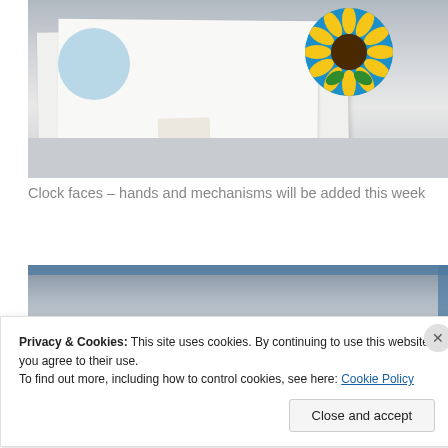[Figure (photo): Photo of clock faces laid out on a white surface, with two circular designs visible — one plain light blue circle and one with a sunflower on a blue background.]
Clock faces – hands and mechanisms will be added this week
[Figure (photo): Partial photo of another image or artwork, mostly showing a light gray and blue background, partially obscured by cookie banner.]
Privacy & Cookies: This site uses cookies. By continuing to use this website, you agree to their use.
To find out more, including how to control cookies, see here: Cookie Policy
Close and accept